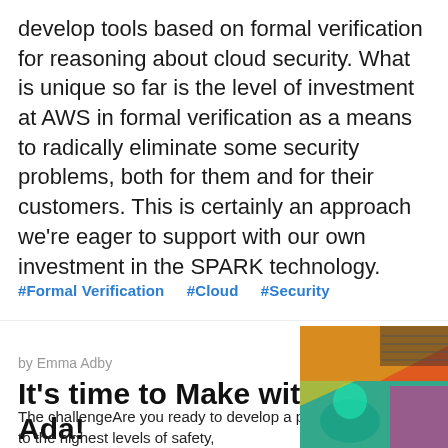develop tools based on formal verification for reasoning about cloud security. What is unique so far is the level of investment at AWS in formal verification as a means to radically eliminate some security problems, both for them and for their customers. This is certainly an approach we're eager to support with our own investment in the SPARK technology.
#Formal Verification   #Cloud   #Security
by Emma Adby
It's time to Make with Ada!
The challengeAre you ready to develop a project to the highest levels of safety,
[Figure (photo): A colorful photo showing electronic/maker hardware with red, teal, yellow and pink tones, possibly a maker/electronics project.]